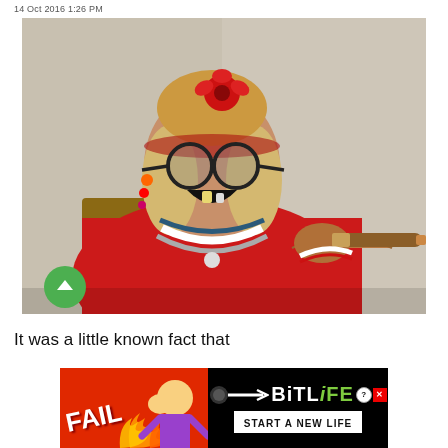14 Oct 2016 1:26 PM
[Figure (photo): Elderly woman in red shirt and round glasses, wearing beads and a red flower hair accessory, laughing broadly and holding a large cigar. Green upvote arrow button overlaid at lower left.]
It was a little known fact that
[Figure (screenshot): BitLife advertisement banner with FAIL text, cartoon character, flames, and 'START A NEW LIFE' tagline on dark background.]